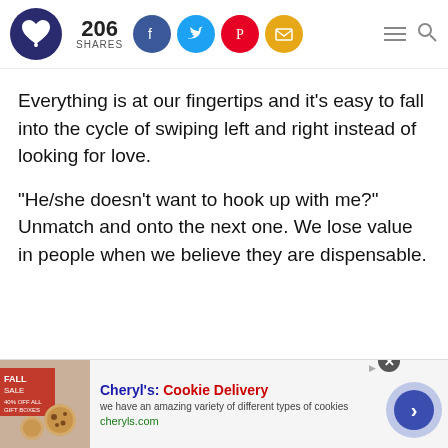206 SHARES — social sharing header with logo and icons
Everything is at our fingertips and it's easy to fall into the cycle of swiping left and right instead of looking for love.
“He/she doesn't want to hook up with me?” Unmatch and onto the next one. We lose value in people when we believe they are dispensable.
[Figure (screenshot): Advertisement banner for Cheryl's Cookie Delivery with cookie image, text and navigation arrow]